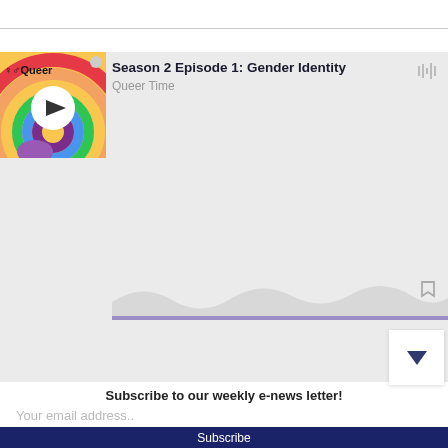[Figure (screenshot): Podcast player card showing 'Season 2 Episode 1: Gender Identity' from Queer Time podcast, with a colorful thumbnail featuring a rainbow and gender symbols, a play button, waveform display, and a purple progress bar.]
Subscribe to our weekly e-news letter!
Your email address..
Subscribe